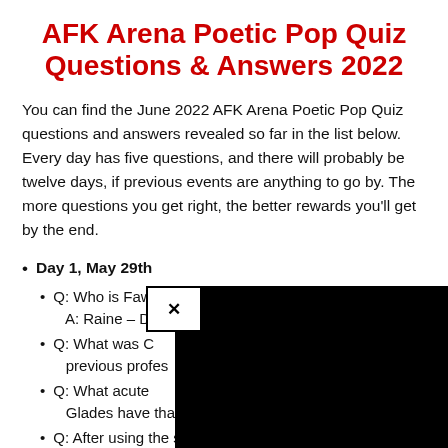AFK Arena Poetic Pop Quiz Questions & Answers 2022
You can find the June 2022 AFK Arena Poetic Pop Quiz questions and answers revealed so far in the list below. Every day has five questions, and there will probably be twelve days, if previous events are anything to go by. The more questions you get right, the better rewards you'll get by the end.
Day 1, May 29th
Q: Who is Faw[text obscured]
A: Raine – Dea[text obscured]
Q: What was C[text obscured] previous profes[text obscured]
Q: What acute [text obscured] Glades have that no one has? A: Smell
Q: After using the skill "Winds of Fury", how many